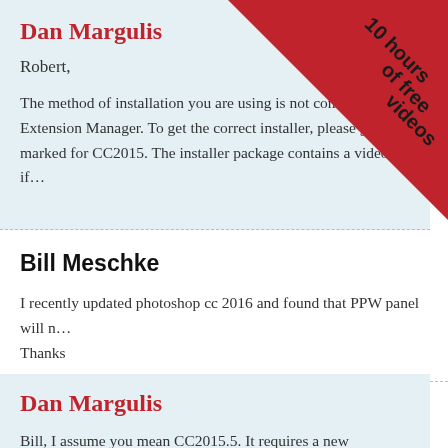Dan Margulis
Robert,
The method of installation you are using is not comp… Extension Manager. To get the correct installer, please go… marked for CC2015. The installer package contains a video if…
[Figure (illustration): Red corner banner with text '10 hours of free videos' rotated 45 degrees in upper-right corner]
Bill Meschke
I recently updated photoshop cc 2016 and found that PPW panel will n… Thanks
Dan Margulis
Bill, I assume you mean CC2015.5. It requires a new installation. You ca… page.